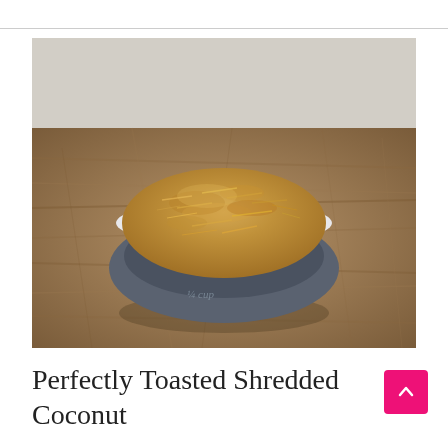[Figure (photo): A small dark gray ceramic measuring cup bowl filled with golden-brown toasted shredded coconut, placed on a rustic olive wood cutting board with a white brick wall in the background.]
Perfectly Toasted Shredded Coconut